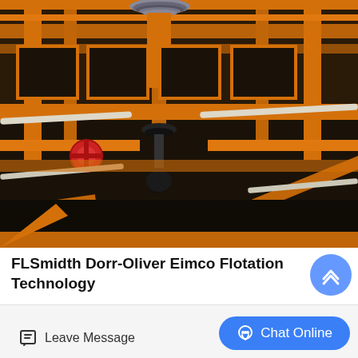[Figure (photo): Industrial flotation technology machinery with orange-painted metal frames, tanks, and mechanical components including a central shaft/impeller assembly viewed from above. The equipment shows black tank surfaces with orange structural beams and a red valve component visible.]
FLSmidth Dorr-Oliver Eimco Flotation Technology
Leave Message
Chat Online